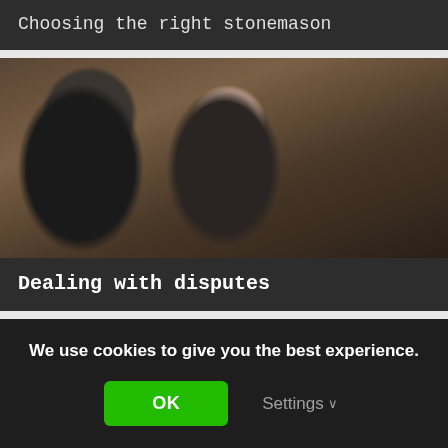Choosing the right stonemason
[Figure (photo): Two people in a kitchen having a conversation — a man with grey hair seen from behind in a dark shirt, and a woman with glasses in a black top gesturing with her hands.]
Dealing with disputes
[Figure (photo): Partial view of documents and construction materials on a surface.]
We use cookies to give you the best experience.
OK
Settings